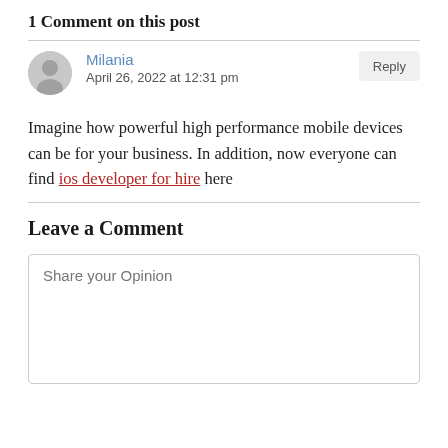1 Comment on this post
Milania
April 26, 2022 at 12:31 pm
Imagine how powerful high performance mobile devices can be for your business. In addition, now everyone can find ios developer for hire here
Leave a Comment
Share your Opinion